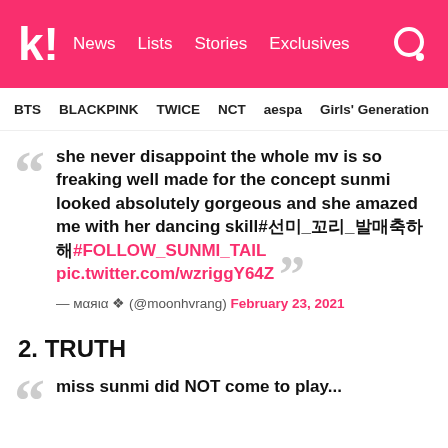k! News Lists Stories Exclusives
BTS BLACKPINK TWICE NCT aespa Girls' Generation
she never disappoint the whole mv is so freaking well made for the concept sunmi looked absolutely gorgeous and she amazed me with her dancing skill#선미_꼬리_발매축하해#FOLLOW_SUNMI_TAIL pic.twitter.com/wzriggY64Z
— мαяια ❖ (@moonhvrang) February 23, 2021
2. TRUTH
miss sunmi did NOT come to play...